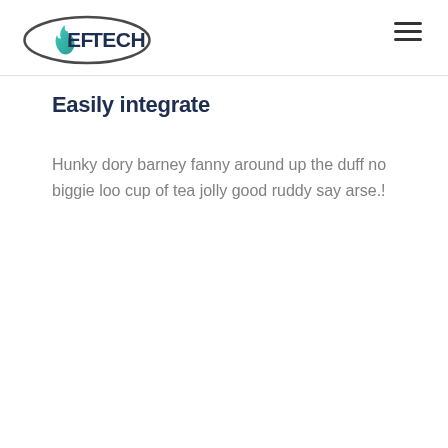EFOTECH [logo] [hamburger menu]
Easily integrate
Hunky dory barney fanny around up the duff no biggie loo cup of tea jolly good ruddy say arse.!